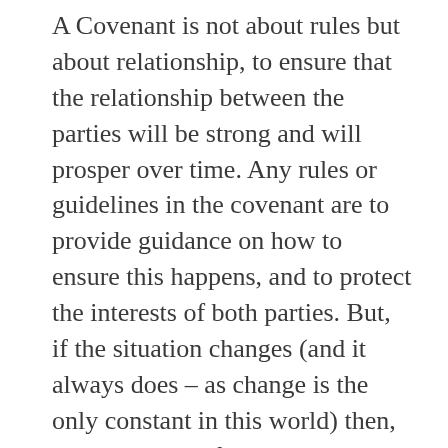A Covenant is not about rules but about relationship, to ensure that the relationship between the parties will be strong and will prosper over time. Any rules or guidelines in the covenant are to provide guidance on how to ensure this happens, and to protect the interests of both parties. But, if the situation changes (and it always does – as change is the only constant in this world) then, in the interest of preserving the relationship, it is understood that the rules will eventually need to be negotiated – and a new (or revised) Covenant agreed-upon.